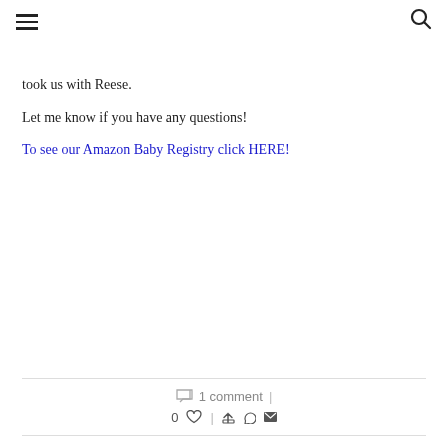≡ [hamburger menu] [search icon]
took us with Reese.
Let me know if you have any questions!
To see our Amazon Baby Registry click HERE!
1 comment  |  0 ♡  |  [share icons]
JRWARFIELD